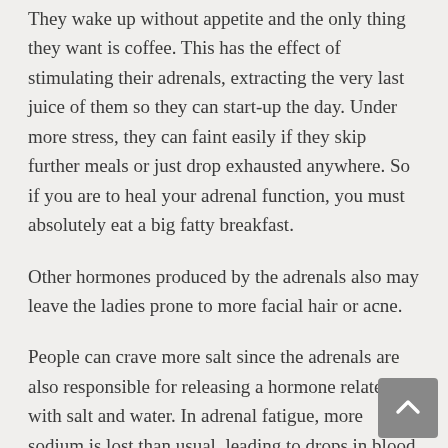They wake up without appetite and the only thing they want is coffee. This has the effect of stimulating their adrenals, extracting the very last juice of them so they can start-up the day. Under more stress, they can faint easily if they skip further meals or just drop exhausted anywhere. So if you are to heal your adrenal function, you must absolutely eat a big fatty breakfast.
Other hormones produced by the adrenals also may leave the ladies prone to more facial hair or acne.
People can crave more salt since the adrenals are also responsible for releasing a hormone related with salt and water. In adrenal fatigue, more sodium is lost than usual, leading to drops in blood pressure, tiredness and lots of salt craving. It is a crime to deprive a person with adrenal fatigue of salt. As it happens, salt has anti-inflammatory